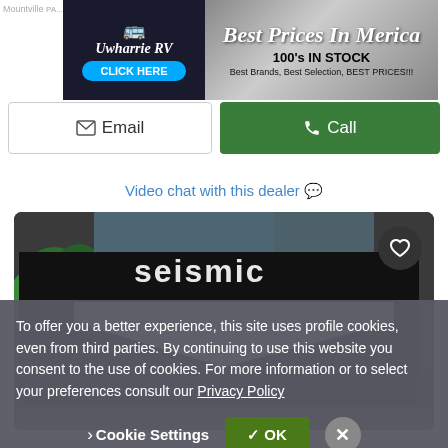[Figure (screenshot): Advertisement banner for Uwharrie RV with 'Best Prices In Merica', '100's IN STOCK', 'Best Brands, Best Selection, BEST PRICES!!!' and a 'CLICK HERE' button]
✉ Email
📞 Call
Video chat with this dealer 💬
[Figure (photo): Photo of a Seismic RV/toy hauler, black exterior with white chevron stripe, parked outdoors with trees visible]
To offer you a better experience, this site uses profile cookies, even from third parties. By continuing to use this website you consent to the use of cookies. For more information or to select your preferences consult our Privacy Policy
❯ Cookie Settings
✓ OK